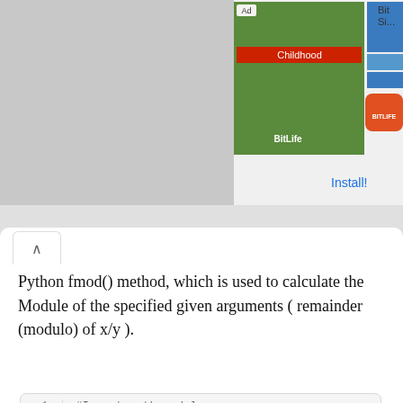[Figure (screenshot): Advertisement banner showing BitLife app ad with green foliage image and BitLife logo]
Python fmod() method, which is used to calculate the Module of the specified given arguments ( remainder (modulo) of x/y ).
#Import math module
import math
x = 6
y = 2
#calculate mode
print(math.fmod(x, y))
#output 0, bacause 6/2 == 0